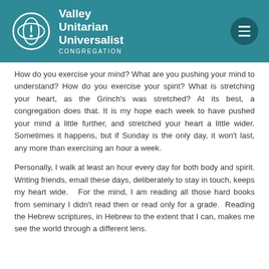Valley Unitarian Universalist Congregation
How do you exercise your mind?  What are you pushing your mind to understand?  How do you exercise your spirit?  What is stretching your heart, as the Grinch's was stretched?  At its best, a congregation does that.  It is my hope each week to have pushed your mind a little further, and stretched your heart a little wider.  Sometimes it happens, but if Sunday is the only day, it won't last, any more than exercising an hour a week.
Personally, I walk at least an hour every day for both body and spirit. Writing friends, email these days, deliberately to stay in touch, keeps my heart wide.   For the mind, I am reading all those hard books from seminary I didn't read then or read only for a grade.  Reading the Hebrew scriptures, in Hebrew to the extent that I can, makes me see the world through a different lens.